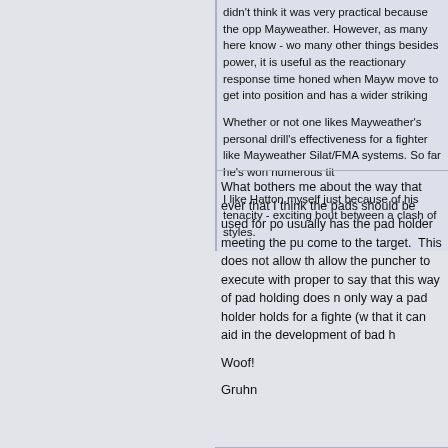didn't think it was very practical because the opp Mayweather. However, as many here know - wo many other things besides power, it is useful as the reactionary response time honed when Mayw move to get into position and has a wider striking
Whether or not one likes Mayweather's personal drill's effectiveness for a fighter like Mayweather Silat/FMA systems. So far he's won numerous tit
I like Hatton myself just because of his tenacity - exciting bout between a clash of styles.
What bothers me about the way that ever that I think the pads should be used for po usually has the pad holder meeting the pu come to the target. This does not allow th allow the puncher to execute with proper to say that this way of pad holding does n only way a pad holder holds for a fighte (w that it can aid in the development of bad h
Woof!
Gruhn